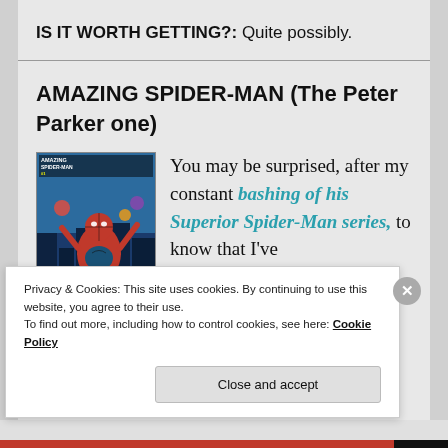IS IT WORTH GETTING?: Quite possibly.
AMAZING SPIDER-MAN (The Peter Parker one)
[Figure (illustration): Comic book cover for Amazing Spider-Man #1 showing Spider-Man in a dynamic pose with colorful background characters.]
You may be surprised, after my constant bashing of his Superior Spider-Man series, to know that I've
Privacy & Cookies: This site uses cookies. By continuing to use this website, you agree to their use.
To find out more, including how to control cookies, see here: Cookie Policy
Close and accept